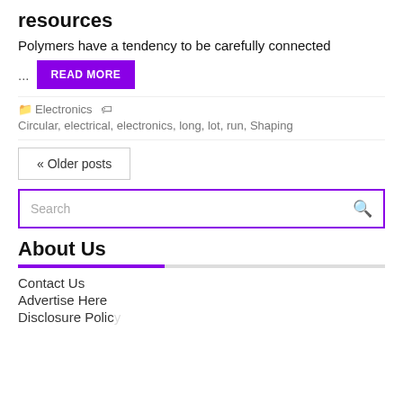resources
Polymers have a tendency to be carefully connected
... READ MORE
Electronics  Circular, electrical, electronics, long, lot, run, Shaping
« Older posts
Search
About Us
Contact Us
Advertise Here
Disclosure Policy